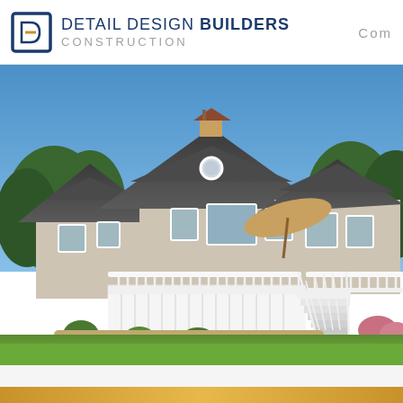DETAIL DESIGN BUILDERS Construction Company
[Figure (photo): Exterior photo of a large coastal-style house with gambrel roof, cedar shake siding, white deck with railings and stairs, cupola, and manicured lawn in the foreground on a sunny day.]